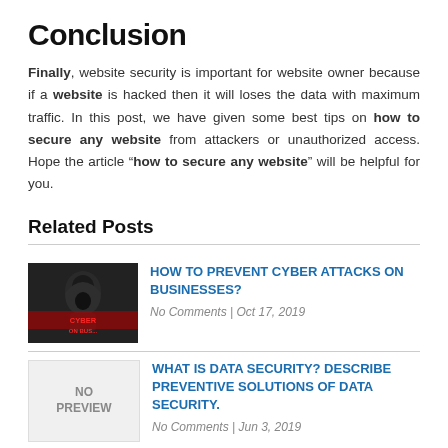Conclusion
Finally, website security is important for website owner because if a website is hacked then it will loses the data with maximum traffic. In this post, we have given some best tips on how to secure any website from attackers or unauthorized access. Hope the article “how to secure any website” will be helpful for you.
Related Posts
[Figure (photo): Thumbnail image for cyber attacks article showing a hooded figure with red text overlay saying 'CYBER ATTACKS ON BUS...']
HOW TO PREVENT CYBER ATTACKS ON BUSINESSES?
No Comments | Oct 17, 2019
[Figure (photo): No preview image placeholder with text 'NO PREVIEW']
WHAT IS DATA SECURITY? DESCRIBE PREVENTIVE SOLUTIONS OF DATA SECURITY.
No Comments | Jun 3, 2019